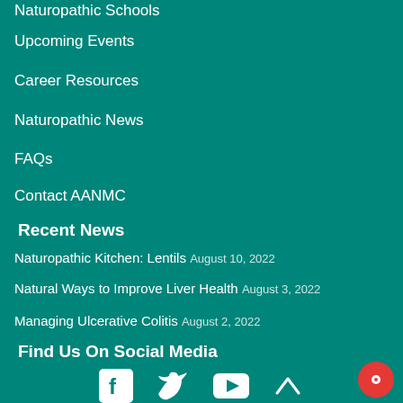Naturopathic Schools
Upcoming Events
Career Resources
Naturopathic News
FAQs
Contact AANMC
Recent News
Naturopathic Kitchen: Lentils August 10, 2022
Natural Ways to Improve Liver Health August 3, 2022
Managing Ulcerative Colitis August 2, 2022
Find Us On Social Media
[Figure (illustration): Social media icons: Facebook, Twitter, YouTube, back-to-top arrow, and chat button]